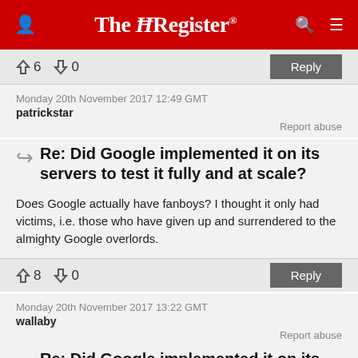The Register
↑6  ↓0    Reply
Monday 20th November 2017 12:49 GMT
patrickstar
Report abuse
Re: Did Google implemented it on its servers to test it fully and at scale?
Does Google actually have fanboys? I thought it only had victims, i.e. those who have given up and surrendered to the almighty Google overlords.
↑8  ↓0    Reply
Monday 20th November 2017 13:22 GMT
wallaby
Report abuse
Re: Did Google implemented it on its...